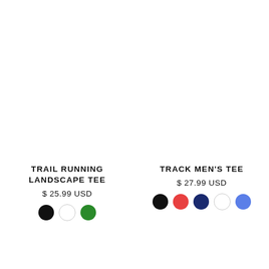TRAIL RUNNING LANDSCAPE TEE
$ 25.99 USD
[Figure (other): Color swatches: black, white, green circles]
TRACK MEN'S TEE
$ 27.99 USD
[Figure (other): Color swatches: black, red, navy, white, blue circles]